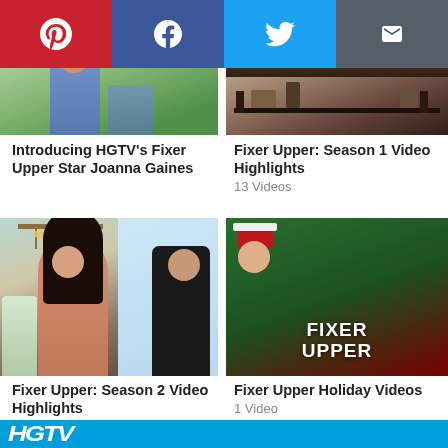[Figure (other): Social share bar with Pinterest, Facebook, Twitter, and Email buttons]
[Figure (photo): Photo of Joanna Gaines partial view, cropped at top]
[Figure (photo): Photo of furniture/shelf from Fixer Upper Season 1]
Introducing HGTV's Fixer Upper Star Joanna Gaines
Fixer Upper: Season 1 Video Highlights 13 Videos
[Figure (photo): Photo of Joanna Gaines and Chip Gaines standing together for Season 2 highlights]
[Figure (photo): Photo of woman in Fixer Upper holiday sweater with FIXER UPPER text overlay, Holiday Videos]
Fixer Upper: Season 2 Video Highlights 5 Videos
Fixer Upper Holiday Videos 1 Video
[Figure (logo): HGTV logo bar at the bottom of the page]